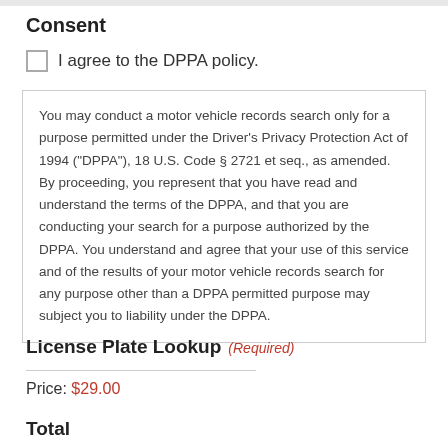Consent
I agree to the DPPA policy.
You may conduct a motor vehicle records search only for a purpose permitted under the Driver's Privacy Protection Act of 1994 (“DPPA”), 18 U.S. Code § 2721 et seq., as amended. By proceeding, you represent that you have read and understand the terms of the DPPA, and that you are conducting your search for a purpose authorized by the DPPA. You understand and agree that your use of this service and of the results of your motor vehicle records search for any purpose other than a DPPA permitted purpose may subject you to liability under the DPPA.
License Plate Lookup (Required)
Price: $29.00
Total